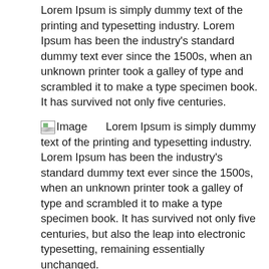Lorem Ipsum is simply dummy text of the printing and typesetting industry. Lorem Ipsum has been the industry's standard dummy text ever since the 1500s, when an unknown printer took a galley of type and scrambled it to make a type specimen book. It has survived not only five centuries.
Image   Lorem Ipsum is simply dummy text of the printing and typesetting industry. Lorem Ipsum has been the industry's standard dummy text ever since the 1500s, when an unknown printer took a galley of type and scrambled it to make a type specimen book. It has survived not only five centuries, but also the leap into electronic typesetting, remaining essentially unchanged.
Lorem Ipsum is simply dummy text of the printing and typesetting industry. Lorem Ipsum has been the industry's standar
Lorem Ipsum is simply dummy text of the printing and typesetting industry. Lorem Ipsum has been the industry's